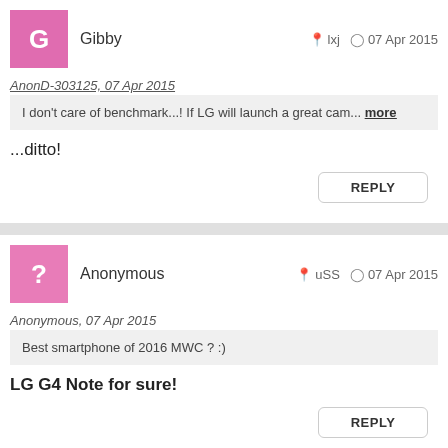Gibby — lxj 07 Apr 2015
AnonD-303125, 07 Apr 2015
I don't care of benchmark...! If LG will launch a great cam... more
...ditto!
REPLY
Anonymous — uSS 07 Apr 2015
Anonymous, 07 Apr 2015
Best smartphone of 2016 MWC ? :)
LG G4 Note for sure!
REPLY